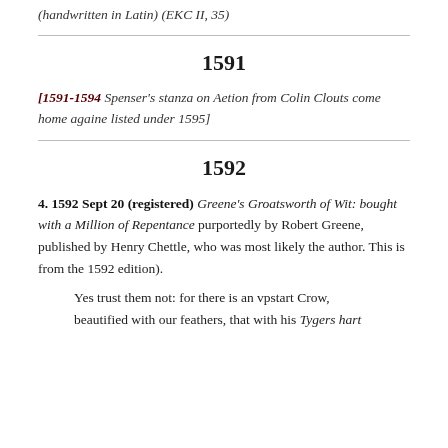(handwritten in Latin) (EKC II, 35)
1591
[1591-1594 Spenser’s stanza on Aetion from Colin Clouts come home againe listed under 1595]
1592
4. 1592 Sept 20 (registered) Greene’s Groatsworth of Wit: bought with a Million of Repentance purportedly by Robert Greene, published by Henry Chettle, who was most likely the author. This is from the 1592 edition).
Yes trust them not: for there is an vpstart Crow, beautified with our feathers, that with his Tygers hart